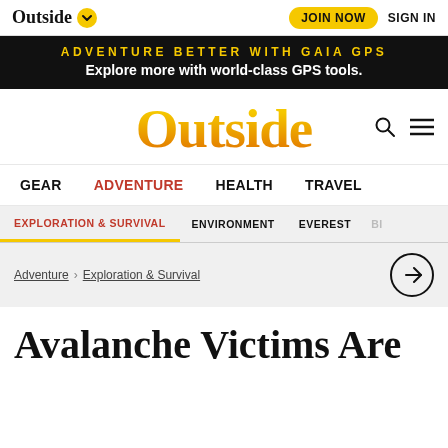Outside | JOIN NOW | SIGN IN
[Figure (screenshot): Outside magazine website header with navigation, banner ad, and article title beginning]
ADVENTURE BETTER WITH GAIA GPS
Explore more with world-class GPS tools.
Outside
GEAR  ADVENTURE  HEALTH  TRAVEL
EXPLORATION & SURVIVAL  ENVIRONMENT  EVEREST  BIK...
Adventure > Exploration & Survival
Avalanche Victims Are